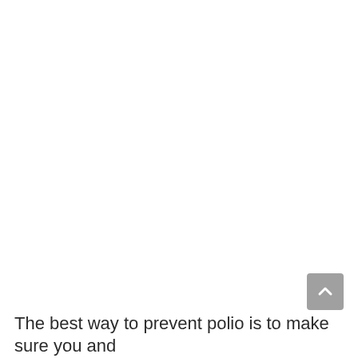[Figure (other): A scroll-to-top button (chevron/arrow pointing up) in a grey rounded square, positioned in the lower right area of the page.]
The best way to prevent polio is to make sure you and